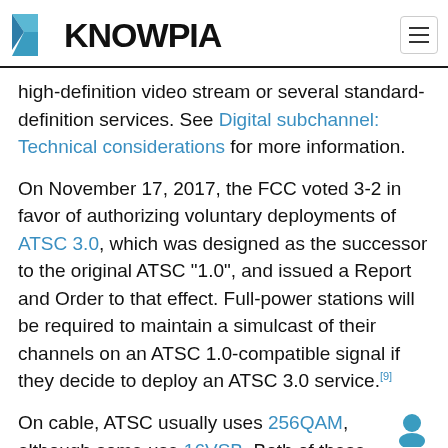KNOWPIA
high-definition video stream or several standard-definition services. See Digital subchannel: Technical considerations for more information.
On November 17, 2017, the FCC voted 3-2 in favor of authorizing voluntary deployments of ATSC 3.0, which was designed as the successor to the original ATSC "1.0", and issued a Report and Order to that effect. Full-power stations will be required to maintain a simulcast of their channels on an ATSC 1.0-compatible signal if they decide to deploy an ATSC 3.0 service.[9]
On cable, ATSC usually uses 256QAM, although some use 16VSB. Both of these double the throughput to 38.78 Mbit/s within the same 6 MHz…